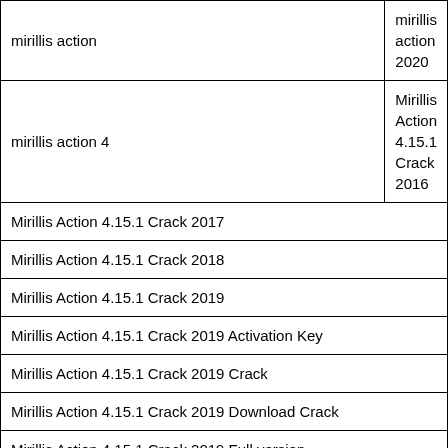| mirillis action | mirillis action 2020 |
| mirillis action 4 | Mirillis Action 4.15.1 Crack 2016 |
| Mirillis Action 4.15.1 Crack 2017 |  |
| Mirillis Action 4.15.1 Crack 2018 |  |
| Mirillis Action 4.15.1 Crack 2019 |  |
| Mirillis Action 4.15.1 Crack 2019 Activation Key |  |
| Mirillis Action 4.15.1 Crack 2019 Crack |  |
| Mirillis Action 4.15.1 Crack 2019 Download Crack |  |
| Mirillis Action 4.15.1 Crack 2019 Full version |  |
| Mirillis Action 4.15.1 Crack 2019 Full version Activation Code |  |
| Mirillis Action 4.15.1 Crack 2019 Full version Activation Key |  |
| Mirillis Action 4.15.1 Crack 2019 Full version Crack |  |